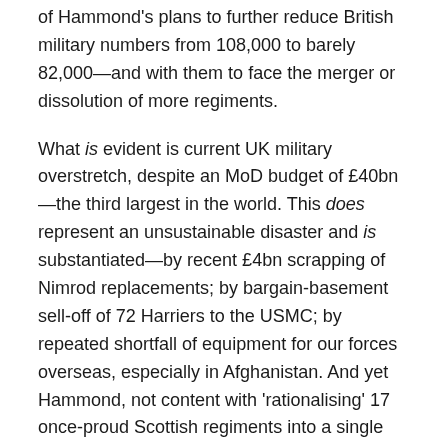of Hammond's plans to further reduce British military numbers from 108,000 to barely 82,000—and with them to face the merger or dissolution of more regiments.
What is evident is current UK military overstretch, despite an MoD budget of £40bn—the third largest in the world. This does represent an unsustainable disaster and is substantiated—by recent £4bn scrapping of Nimrod replacements; by bargain-basement sell-off of 72 Harriers to the USMC; by repeated shortfall of equipment for our forces overseas, especially in Afghanistan. And yet Hammond, not content with 'rationalising' 17 once-proud Scottish regiments into a single RRS, is hell-bent on discharging another 20,000 professionals?
This is sheer nonsense.